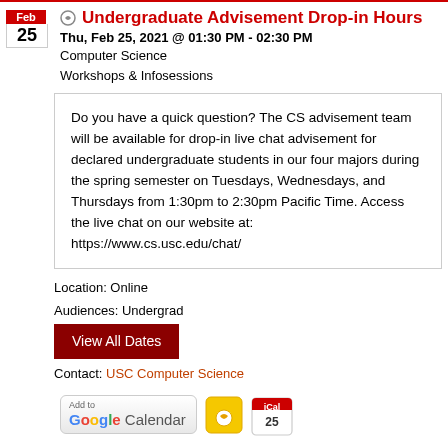Undergraduate Advisement Drop-in Hours
Thu, Feb 25, 2021 @ 01:30 PM - 02:30 PM
Computer Science
Workshops & Infosessions
Do you have a quick question? The CS advisement team will be available for drop-in live chat advisement for declared undergraduate students in our four majors during the spring semester on Tuesdays, Wednesdays, and Thursdays from 1:30pm to 2:30pm Pacific Time. Access the live chat on our website at: https://www.cs.usc.edu/chat/
Location: Online
Audiences: Undergrad
View All Dates
Contact: USC Computer Science
[Figure (logo): Add to Google Calendar button and calendar export icons]
CS Distinguished Lecture: Rada Mihalcea (University of...